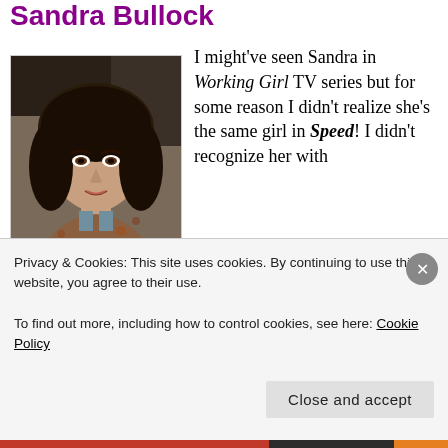Sandra Bullock
[Figure (photo): Headshot photograph of Sandra Bullock with a dark bob haircut, wearing a floral/patterned top]
I might've seen Sandra in Working Girl TV series but for some reason I didn't realize she's the same girl in Speed! I didn't recognize her with her big wavy hair, she's...
Privacy & Cookies: This site uses cookies. By continuing to use this website, you agree to their use. To find out more, including how to control cookies, see here: Cookie Policy
Close and accept